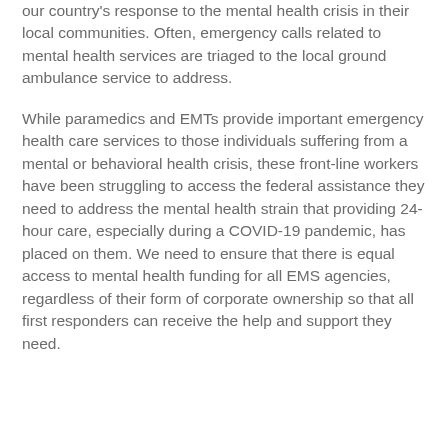our country's response to the mental health crisis in their local communities. Often, emergency calls related to mental health services are triaged to the local ground ambulance service to address.
While paramedics and EMTs provide important emergency health care services to those individuals suffering from a mental or behavioral health crisis, these front-line workers have been struggling to access the federal assistance they need to address the mental health strain that providing 24-hour care, especially during a COVID-19 pandemic, has placed on them. We need to ensure that there is equal access to mental health funding for all EMS agencies, regardless of their form of corporate ownership so that all first responders can receive the help and support they need.